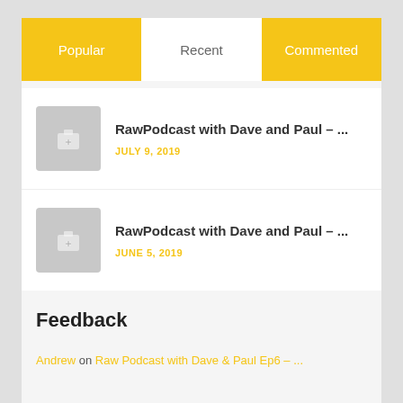Popular
Recent
Commented
RawPodcast with Dave and Paul – ... JULY 9, 2019
RawPodcast with Dave and Paul – ... JUNE 5, 2019
Feedback
Andrew on Raw Podcast with Dave & Paul Ep6 – ...